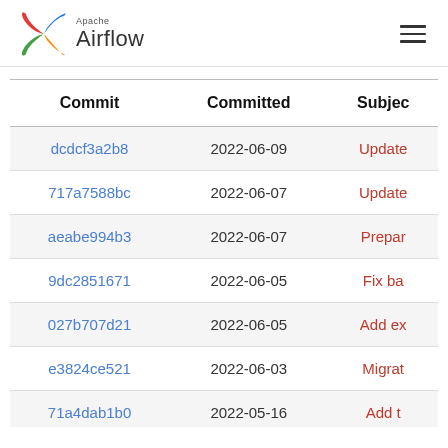Apache Airflow
| Commit | Committed | Subjec |
| --- | --- | --- |
| dcdcf3a2b8 | 2022-06-09 | Update |
| 717a7588bc | 2022-06-07 | Update |
| aeabe994b3 | 2022-06-07 | Prepar |
| 9dc2851671 | 2022-06-05 | Fix ba |
| 027b707d21 | 2022-06-05 | Add ex |
| e3824ce521 | 2022-06-03 | Migrat |
| 71a4dab1b0 | 2022-05-16 | Add t |